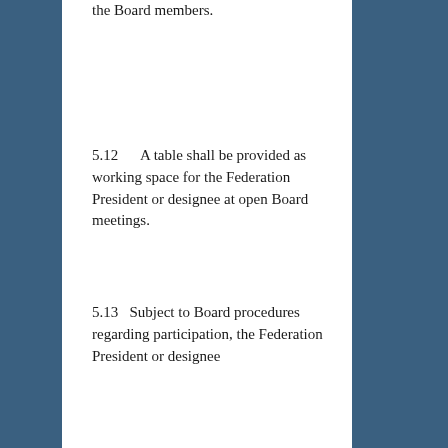the Board members.
5.12 A table shall be provided as working space for the Federation President or designee at open Board meetings.
5.13 Subject to Board procedures regarding participation, the Federation President or designee